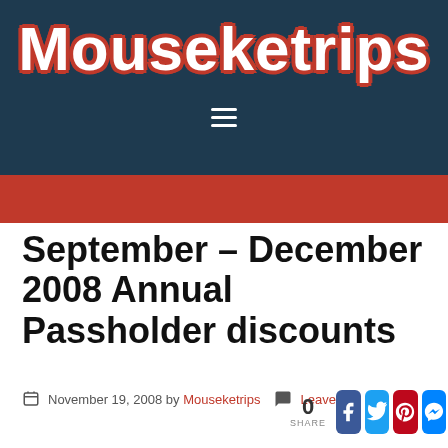Mouseketrips
September – December 2008 Annual Passholder discounts
November 19, 2008 by Mouseketrips   Leave a
0 SHARE